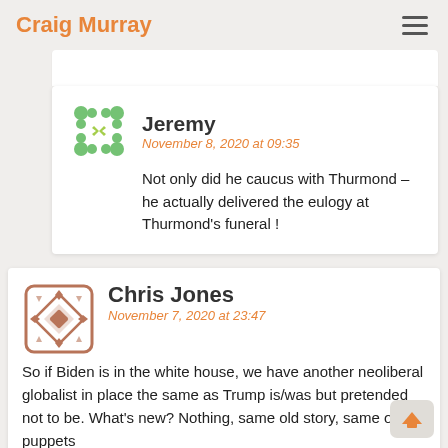Craig Murray
Jeremy
November 8, 2020 at 09:35
Not only did he caucus with Thurmond – he actually delivered the eulogy at Thurmond's funeral!
Chris Jones
November 7, 2020 at 23:47
So if Biden is in the white house, we have another neoliberal globalist in place the same as Trump is/was but pretended not to be. What's new? Nothing, same old story, same old puppets